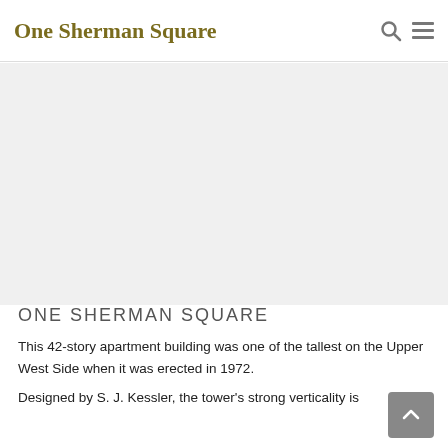One Sherman Square
[Figure (photo): Large photograph of One Sherman Square building (placeholder/blank area)]
ONE SHERMAN SQUARE
This 42-story apartment building was one of the tallest on the Upper West Side when it was erected in 1972.
Designed by S. J. Kessler, the tower's strong verticality is